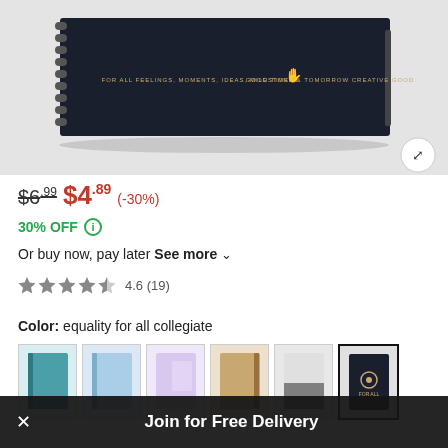[Figure (photo): Product photo of a dark navy/black spiral-bound notebook on a light gray background with an expand icon in the bottom right corner]
$6.99  $4.89  (-30%)
30% OFF (i)
Or buy now, pay later See more
4.6 (19)
Color: equality for all collegiate
[Figure (photo): Color variant thumbnails of notebooks in teal, light blue, holographic, tan/kraft, gray watercolor, and selected dark navy]
Join for Free Delivery